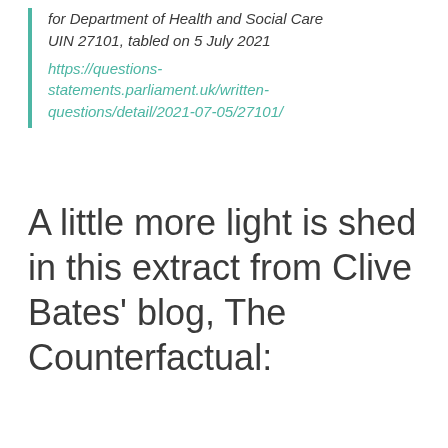for Department of Health and Social Care UIN 27101, tabled on 5 July 2021
https://questions-statements.parliament.uk/written-questions/detail/2021-07-05/27101/
A little more light is shed in this extract from Clive Bates' blog, The Counterfactual: